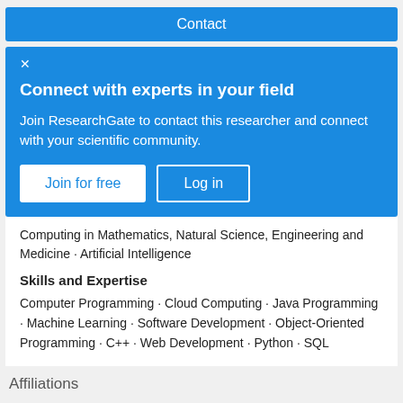Contact
Connect with experts in your field
Join ResearchGate to contact this researcher and connect with your scientific community.
Computing in Mathematics, Natural Science, Engineering and Medicine · Artificial Intelligence
Skills and Expertise
Computer Programming · Cloud Computing · Java Programming · Machine Learning · Software Development · Object-Oriented Programming · C++ · Web Development · Python · SQL
Affiliations